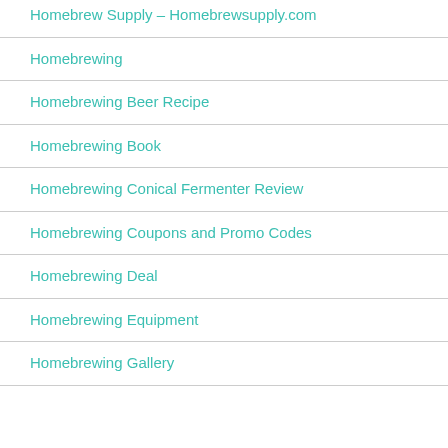Homebrew Supply – Homebrewsupply.com
Homebrewing
Homebrewing Beer Recipe
Homebrewing Book
Homebrewing Conical Fermenter Review
Homebrewing Coupons and Promo Codes
Homebrewing Deal
Homebrewing Equipment
Homebrewing Gallery